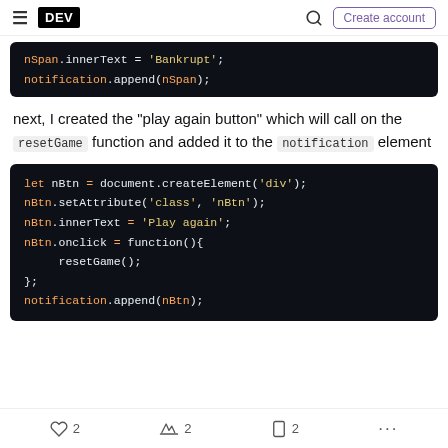DEV | Create account
[Figure (screenshot): Code block showing: nSpan.innerText = 'Bankrupt'; notification.append(nSpan);]
next, I created the "play again button" which will call on the resetGame function and added it to the notification element
[Figure (screenshot): Code block showing: let nBtn = document.createElement('div'); nBtn.setAttribute('class', 'nBtn'); nBtn.innerText = 'Play again'; nBtn.onclick = function(){ resetGame(); }; notification.append(nBtn);]
2 reactions, 2 comments, 2 saves, more options